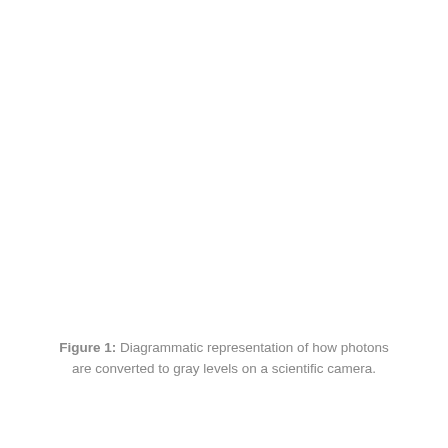Figure 1: Diagrammatic representation of how photons are converted to gray levels on a scientific camera.